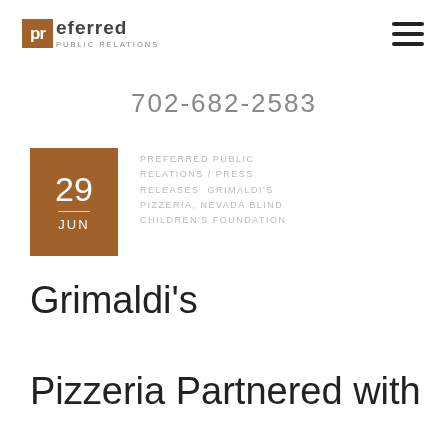[Figure (logo): Preferred Public Relations logo with brown 'pr' icon and company name]
702-682-2583
29 JUN
PREFERRED PUBLIC RELATIONS / PRESS RELEASES  GRIMALDI'S PIZZERIA, NEVADA BLIND CHILDREN'S FOUNDATION
Grimaldi's Pizzeria Partnered with Nevada Blind Children's Foundation For A Pizza